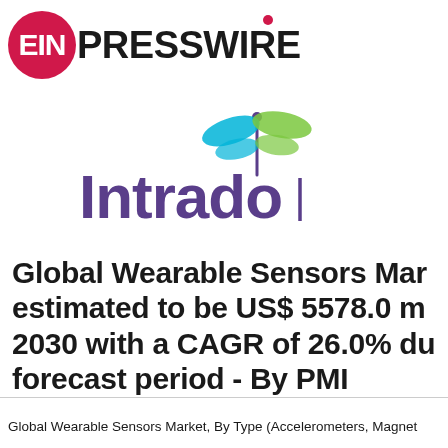[Figure (logo): EINPresswire logo with red circle containing 'EIN' in white and 'PRESSWIRE' in bold black with red dot above the i]
[Figure (logo): Intrado logo with purple 'Intrado' text and a dragonfly icon with blue and green wings above]
Global Wearable Sensors Market estimated to be US$ 5578.0 m 2030 with a CAGR of 26.0% du forecast period - By PMI
Global Wearable Sensors Market, By Type (Accelerometers, Magnet